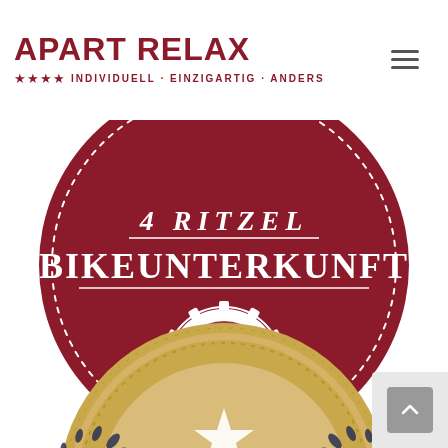APART RELAX ★★★★ INDIVIDUELL · EINZIGARTIG · ANDERS
[Figure (logo): Red circular badge with dotted border and gear icon. Text reads '4 RITZEL BIKEUNTERKUNFT' in white serif font on dark red background.]
[Figure (logo): Gold circular award badge with laurel wreath, star, and dark ornamental elements on a gold background, partially visible.]